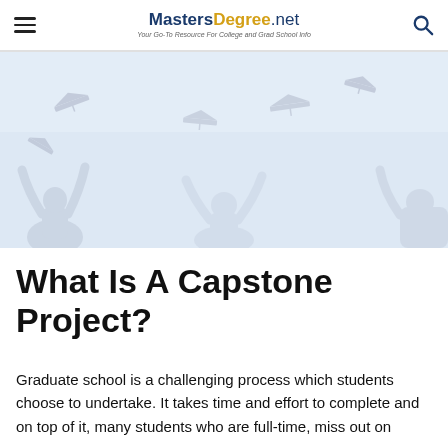MastersDegree.net — Your Go-To Resource For College and Grad School Info
[Figure (illustration): Light blue background illustration of graduation caps being tossed in the air with silhouettes of celebrating students with raised arms below.]
What Is A Capstone Project?
Graduate school is a challenging process which students choose to undertake. It takes time and effort to complete and on top of it, many students who are full-time, miss out on